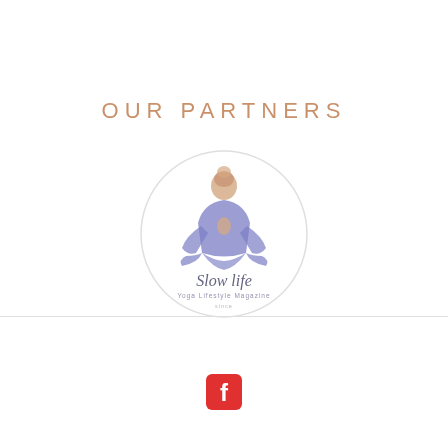OUR PARTNERS
[Figure (logo): Slow Life Yoga Lifestyle Magazine logo — a circular badge containing an illustrated meditating figure in blue and peach tones, with text 'Slow life' and 'Yoga Lifestyle Magazine' below]
[Figure (logo): Facebook social media icon — red rounded square with white 'f' letter]